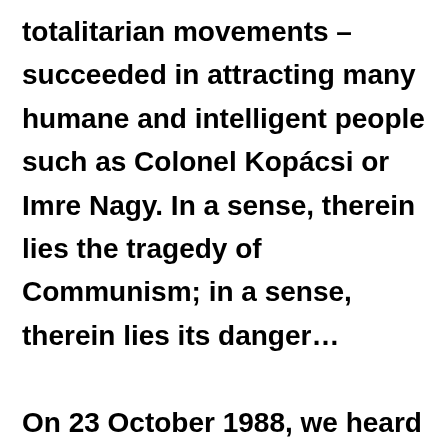totalitarian movements – succeeded in attracting many humane and intelligent people such as Colonel Kopácsi or Imre Nagy. In a sense, therein lies the tragedy of Communism; in a sense, therein lies its danger… On 23 October 1988, we heard an announcement by the HSWP that the events of 1956 were no longer to be